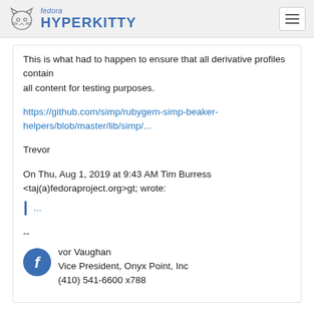fedora HYPERKITTY
This is what had to happen to ensure that all derivative profiles contain
all content for testing purposes.
https://github.com/simp/rubygem-simp-beaker-helpers/blob/master/lib/simp/...
Trevor
On Thu, Aug 1, 2019 at 9:43 AM Tim Burress <taj(a)fedoraproject.org&gt; wrote:
...
--
Trevor Vaughan
Vice President, Onyx Point, Inc
(410) 541-6600 x788